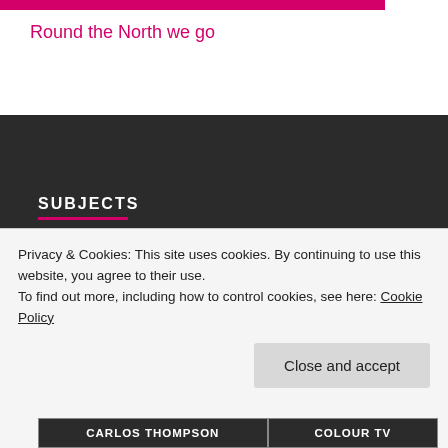Round the North we go
SUBJECTS
1963
ABC WEEKEND TV
ACKER BILK
ADAM FAITH
ARROWSMITH HOLIDAYS
ASSOCIATED TELEVISION
ATV
ATV MIDLANDS
Privacy & Cookies: This site uses cookies. By continuing to use this website, you agree to their use.
To find out more, including how to control cookies, see here: Cookie Policy
CARLOS THOMPSON
COLOUR TV